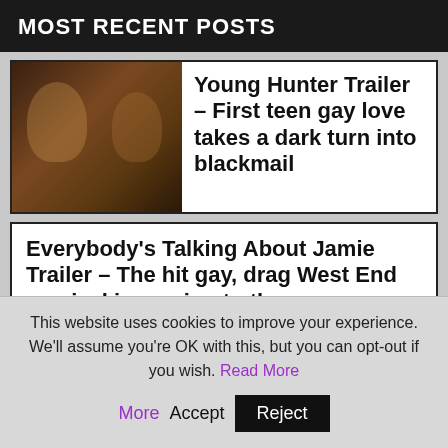MOST RECENT POSTS
Young Hunter Trailer – First teen gay love takes a dark turn into blackmail
Everybody's Talking About Jamie Trailer – The hit gay, drag West End musical is coming to the screen
Iris Pride Festival LGBT+
This website uses cookies to improve your experience. We'll assume you're OK with this, but you can opt-out if you wish. Read More Accept Reject